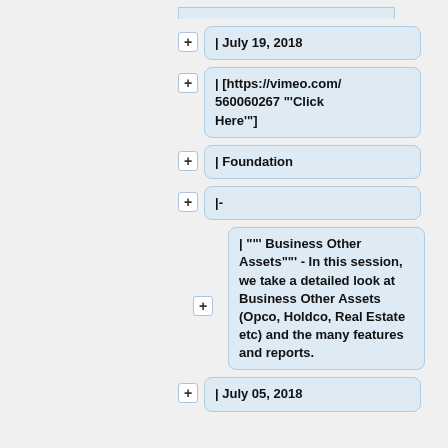| July 19, 2018
| [https://vimeo.com/560060267 "'Click Here'"]
| Foundation
|-
| ""' Business Other Assets""' - In this session, we take a detailed look at Business Other Assets (Opco, Holdco, Real Estate etc) and the many features and reports.
| July 05, 2018